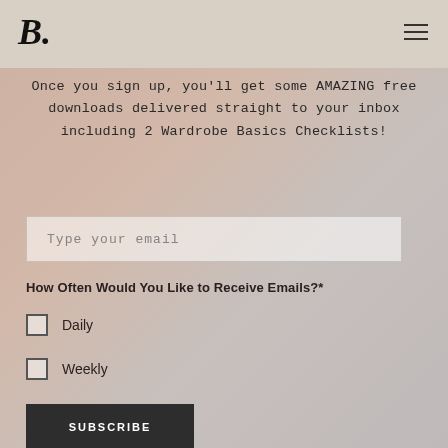B.
Once you sign up, you'll get some AMAZING free downloads delivered straight to your inbox including 2 Wardrobe Basics Checklists!
Type your email
How Often Would You Like to Receive Emails?*
Daily
Weekly
SUBSCRIBE